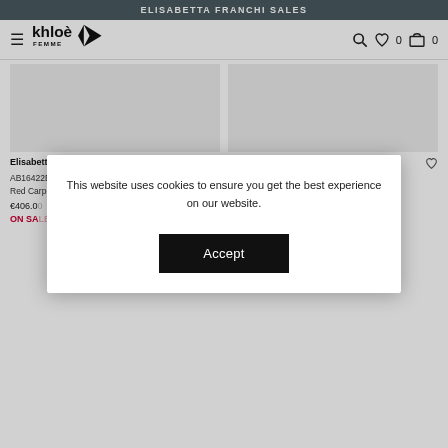ELISABETTA FRANCHI SALES
[Figure (logo): Khloè Femme logo with stylized bird]
Elisabetta Franchi
AB16422E2 Glicine
Red Carpet full sequin one-shoulder dress
€406.00
ON SA...
Elisabetta Franchi
PA01221E2 Avorio
High wasted flared trousers with logo
This website uses cookies to ensure you get the best experience on our website.
Accept